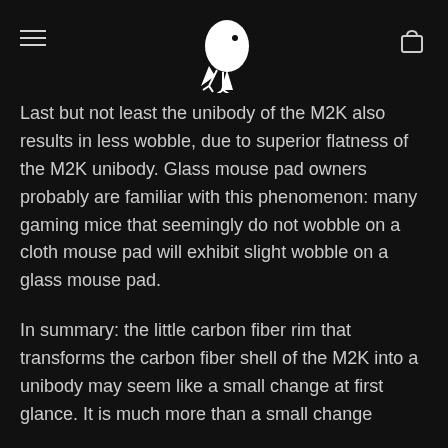[Logo: bird illustration]
Last but not least the unibody of the M2K also results in less wobble, due to superior flatness of the M2K unibody. Glass mouse pad owners probably are familiar with this phenomenon: many gaming mice that seemingly do not wobble on a cloth mouse pad will exhibit slight wobble on a glass mouse pad.
In summary: the little carbon fiber rim that transforms the carbon fiber shell of the M2K into a unibody may seem like a small change at first glance. It is much more than a small change